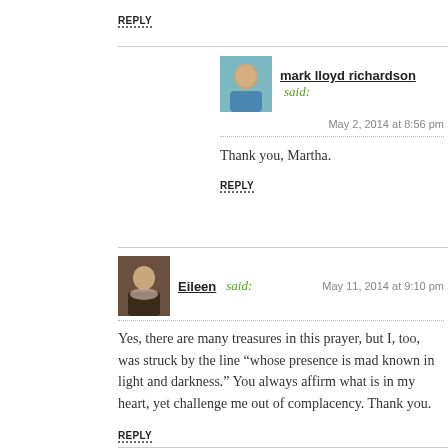REPLY
mark lloyd richardson said: May 2, 2014 at 8:56 pm
Thank you, Martha.
REPLY
Eileen said: May 11, 2014 at 9:10 pm
Yes, there are many treasures in this prayer, but I, too, was struck by the line “whose presence is mad known in light and darkness.” You always affirm what is in my heart, yet challenge me out of complacency. Thank you.
REPLY